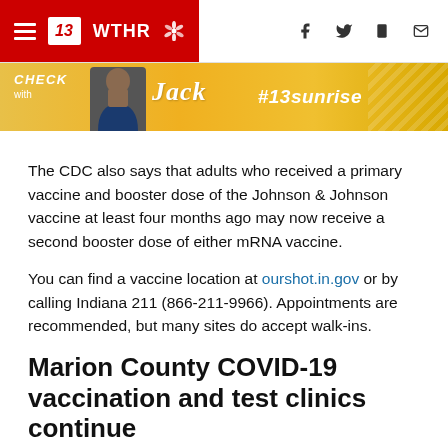13 WTHR NBC — navigation header with social icons
[Figure (infographic): WTHR 13 Sunrise promotional advertisement banner in yellow/orange with person figure and cursive text '#13sunrise']
The CDC also says that adults who received a primary vaccine and booster dose of the Johnson & Johnson vaccine at least four months ago may now receive a second booster dose of either mRNA vaccine.
You can find a vaccine location at ourshot.in.gov or by calling Indiana 211 (866-211-9966). Appointments are recommended, but many sites do accept walk-ins.
Marion County COVID-19 vaccination and test clinics continue
The Marion County Public Health Department (MCPHD)